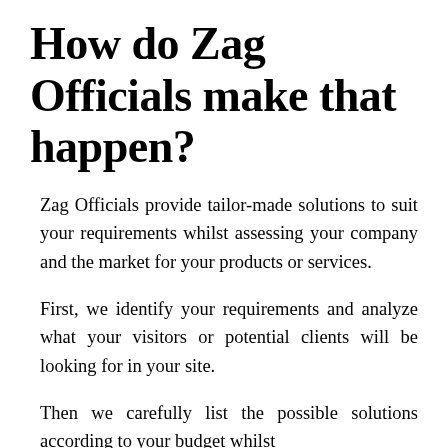How do Zag Officials make that happen?
Zag Officials provide tailor-made solutions to suit your requirements whilst assessing your company and the market for your products or services.
First, we identify your requirements and analyze what your visitors or potential clients will be looking for in your site.
Then we carefully list the possible solutions according to your budget whilst